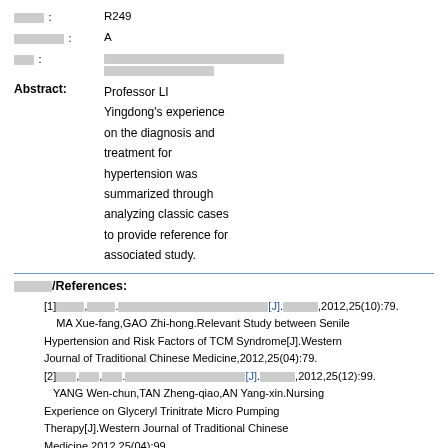图号: R249
文献标志码: A
文章编号: [Chinese characters]
Abstract: Professor LI Yingdong's experience on the diagnosis and treatment for hypertension was summarized through analyzing classic cases to provide reference for associated study.
参考文献/References:
[1]MA Xue-fang,GAO Zhi-hong.Relevant Study between Senile Hypertension and Risk Factors of TCM Syndrome[J].Western Journal of Traditional Chinese Medicine,2012,25(04):79.
[2]YANG Wen-chun,TAN Zheng-qiao,AN Yang-xin.Nursing Experience on Glyceryl Trinitrate Micro Pumping Therapy[J].Western Journal of Traditional Chinese Medicine,2012,25(04):99.